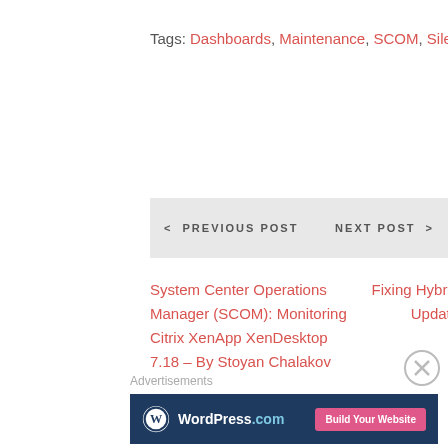Tags: Dashboards, Maintenance, SCOM, Silect
< PREVIOUS POST    NEXT POST >
System Center Operations Manager (SCOM): Monitoring Citrix XenApp XenDesktop 7.18 – By Stoyan Chalakov
Fixing Hybrid – IaaS with Azure Update Management and SCOM
Advertisements
[Figure (other): WordPress.com advertisement banner with logo and 'Build Your Website' button]